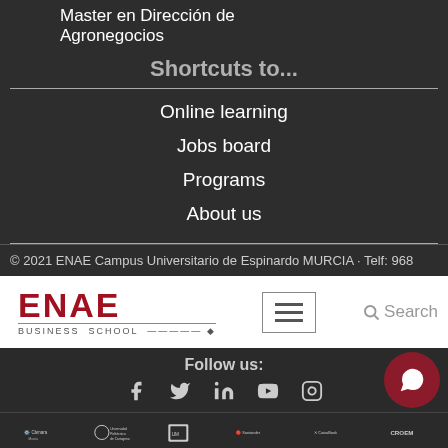Master en Dirección de Agronegocios
Shortcuts to...
Online learning
Jobs board
Programs
About us
© 2021 ENAE Campus Universitario de Espinardo MURCIA · Telf: 968
[Figure (logo): ENAE Business School logo in red]
[Figure (other): Hamburger menu icon]
[Figure (other): Search icon with text Search]
Follow us:
[Figure (other): Social media icons: Facebook, Twitter, LinkedIn, YouTube, Instagram]
[Figure (other): WhatsApp button circle]
[Figure (other): Partner logos: Cámara, Universidad Politécnica de Cartagena, Universidad de Murcia, Santander, CaixaBank, CROEM]